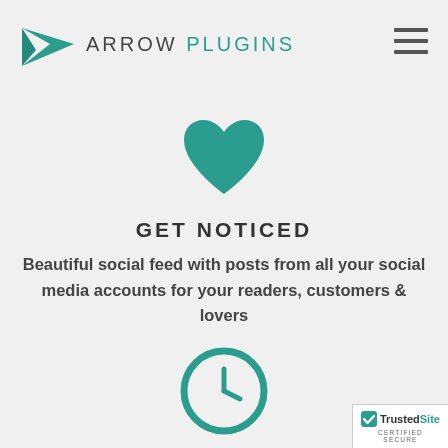Arrow Plugins
[Figure (logo): Arrow Plugins logo with teal paper airplane and text ARROW PLUGINS]
[Figure (illustration): Teal heart icon]
GET NOTICED
Beautiful social feed with posts from all your social media accounts for your readers, customers & lovers
[Figure (illustration): Teal clock icon circle]
SAVE TIME
[Figure (logo): TrustedSite Certified Secure badge]